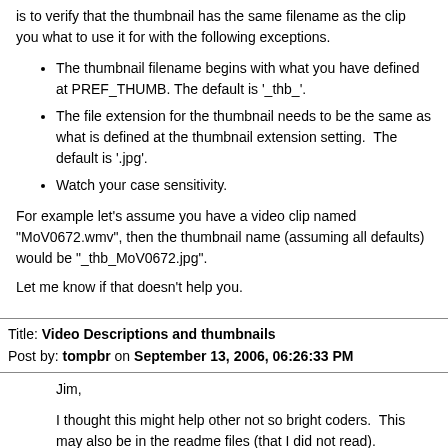is to verify that the thumbnail has the same filename as the clip you what to use it for with the following exceptions.
The thumbnail filename begins with what you have defined at PREF_THUMB. The default is '_thb_'.
The file extension for the thumbnail needs to be the same as what is defined at the thumbnail extension setting.  The default is '.jpg'.
Watch your case sensitivity.
For example let's assume you have a video clip named "MoV0672.wmv", then the thumbnail name (assuming all defaults) would be "_thb_MoV0672.jpg".
Let me know if that doesn't help you.
Title: Video Descriptions and thumbnails
Post by: tompbr on September 13, 2006, 06:26:33 PM
Jim,
I thought this might help other not so bright coders.  This may also be in the readme files (that I did not read).
The videos posted were taken with a camera that gave the movies the titles of *.MOV.  I renamed them all *.mov and the thumbnails kicked into high gear.
I assume this is because the supported extensions in the array are